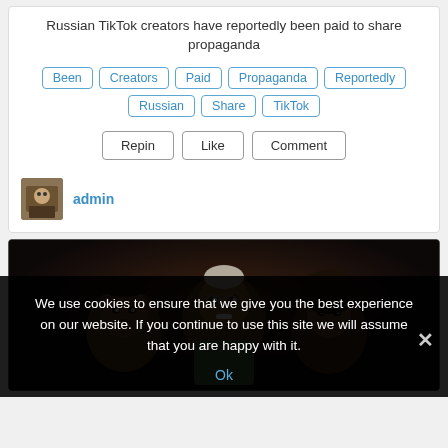Russian TikTok creators have reportedly been paid to share propaganda
Been
Creators
Paid
Propaganda
Reportedly
Russian
Share
TikTok
Repin  Like  Comment
admin
[Figure (illustration): Animated cartoon characters — three figures with dark skin tones, one older with grey hair and glasses in the center, flanked by two younger characters, against a dark background]
We use cookies to ensure that we give you the best experience on our website. If you continue to use this site we will assume that you are happy with it.
Ok